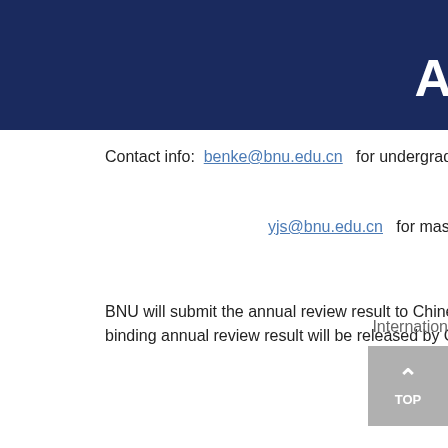A
Contact info:  benke@bnu.edu.cn   for undergraduate students
yjs@bnu.edu.cn   for master and doctoral students
BNU will submit the annual review result to Chinese Scholars binding annual review result will be released by CSC.
Internation
TOP